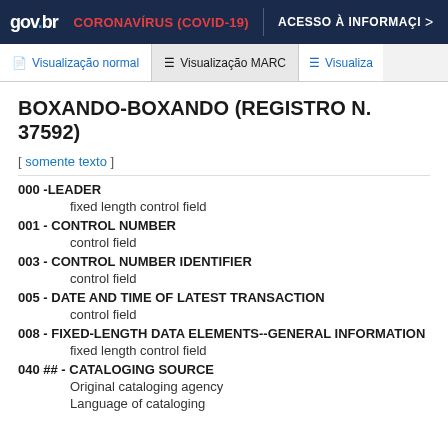gov.br CORONAVÍRUS (COVID-19) ACESSO À INFORMAÇI >
Visualização normal | Visualização MARC | Visualiza
BOXANDO-BOXANDO (REGISTRO N. 37592)
[ somente texto ]
000 -LEADER
fixed length control field
001 - CONTROL NUMBER
control field
003 - CONTROL NUMBER IDENTIFIER
control field
005 - DATE AND TIME OF LATEST TRANSACTION
control field
008 - FIXED-LENGTH DATA ELEMENTS--GENERAL INFORMATION
fixed length control field
040 ## - CATALOGING SOURCE
Original cataloging agency
Language of cataloging